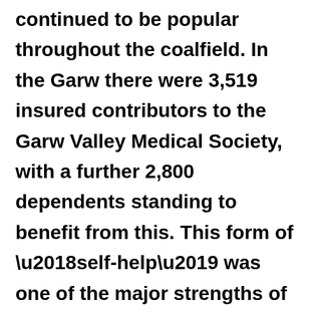continued to be popular throughout the coalfield. In the Garw there were 3,519 insured contributors to the Garw Valley Medical Society, with a further 2,800 dependents standing to benefit from this. This form of ‘self-help’ was one of the major strengths of the valley, running through an institutional life which some disparaged as the multiplicity of small clubs and benefit societies. Perhaps due